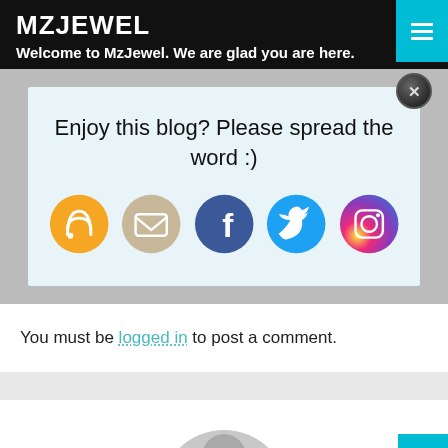MZJEWEL
Welcome to MzJewel. We are glad you are here.
Enjoy this blog? Please spread the word :)
[Figure (infographic): Social sharing icons: RSS (orange), Email (tan/gold), Facebook (blue), Twitter (light blue), Instagram (gradient purple-pink)]
You must be logged in to post a comment.
[Figure (illustration): Partial avatar/profile silhouette circle in gray at the bottom of the page]